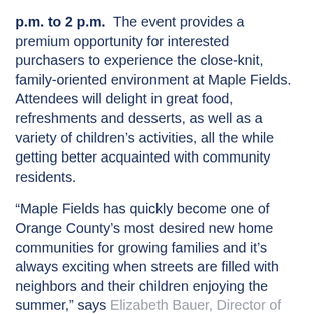p.m. to 2 p.m.   The event provides a premium opportunity for interested purchasers to experience the close-knit, family-oriented environment at Maple Fields.  Attendees will delight in great food, refreshments and desserts, as well as a variety of children's activities, all the while getting better acquainted with community residents.
“Maple Fields has quickly become one of Orange County’s most desired new home communities for growing families and it’s always exciting when streets are filled with neighbors and their children enjoying the summer,” says Elizabeth Bauer, Director of Sales and Marketing for Baker Residential.  “Last year’s ‘Block Party” was incredibly well-received and we’ve had many residents request another party this year.  Of course, we’re delighted to host the event and help foster the vibrant atmosphere at Maple Fields.  We’d like to invite all of our prospects to join our